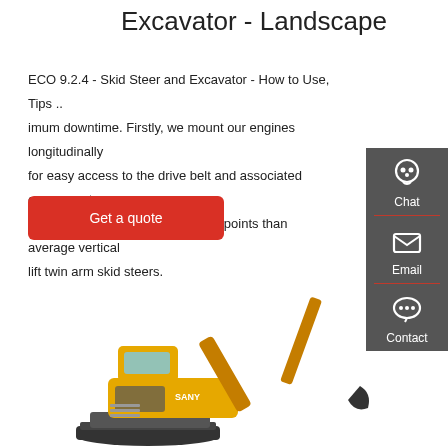Excavator - Landscape
ECO 9.2.4 - Skid Steer and Excavator - How to Use, Tips .. imum downtime. Firstly, we mount our engines longitudinally for easy access to the drive belt and associated components. There are also 30% fewer grease points than average vertical lift twin arm skid steers.
[Figure (other): Red button with text 'Get a quote']
[Figure (other): Dark grey sidebar with Chat, Email, and Contact icons and labels]
[Figure (photo): Yellow SANY excavator on white background, showing the full machine with boom extended]